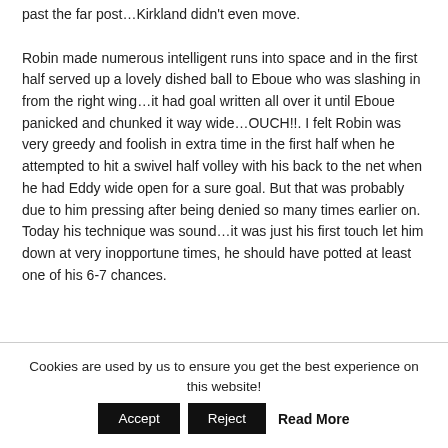past the far post…Kirkland didn't even move.
Robin made numerous intelligent runs into space and in the first half served up a lovely dished ball to Eboue who was slashing in from the right wing…it had goal written all over it until Eboue panicked and chunked it way wide…OUCH!!. I felt Robin was very greedy and foolish in extra time in the first half when he attempted to hit a swivel half volley with his back to the net when he had Eddy wide open for a sure goal. But that was probably due to him pressing after being denied so many times earlier on. Today his technique was sound…it was just his first touch let him down at very inopportune times, he should have potted at least one of his 6-7 chances.
Cookies are used by us to ensure you get the best experience on this website!